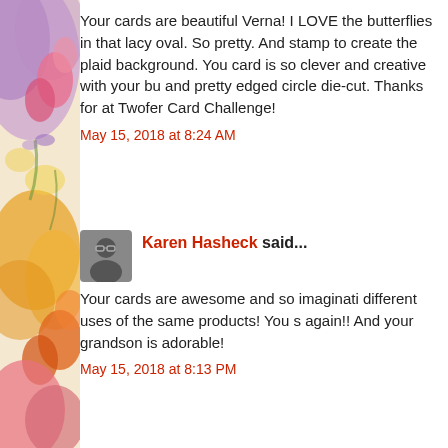[Figure (illustration): Decorative watercolor illustration on the left side of the page featuring pink, purple, orange, and yellow flowers/butterflies]
Your cards are beautiful Verna! I LOVE the butterflies in that lacy oval. So pretty. And stamp to create the plaid background. You card is so clever and creative with your bu and pretty edged circle die-cut. Thanks fo at Twofer Card Challenge!
May 15, 2018 at 8:24 AM
Karen Hasheck said...
Your cards are awesome and so imaginati different uses of the same products! You s again!! And your grandson is adorable!
May 15, 2018 at 8:13 PM